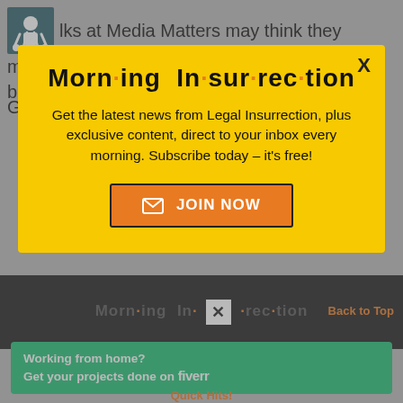folks at Media Matters may think they matter but Megyn Kelly is having the last laugh.
Good for her.
[Figure (infographic): Morning Insurrection newsletter subscription modal popup with yellow background, orange dot accents in title, body text about Legal Insurrection newsletter, and orange JOIN NOW button with envelope icon]
[Figure (infographic): Dark bottom bar with Morning Insurrection title in dark text with orange dots, white X close box in center, and Back to Top link in orange]
[Figure (infographic): Fiverr green banner ad: Working from home? Get your projects done on fiverr]
Quick Hits!